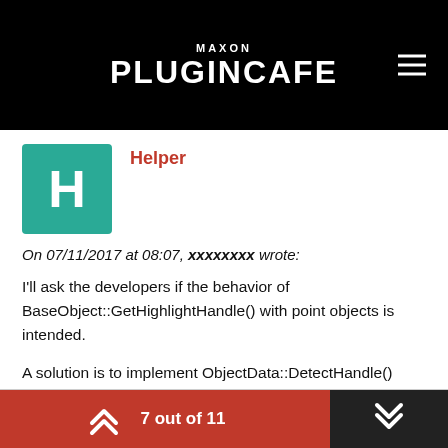MAXON PLUGINCAFE
Helper
On 07/11/2017 at 08:07, xxxxxxxx wrote:
I'll ask the developers if the behavior of BaseObject::GetHighlightHandle() with point objects is intended.
A solution is to implement ObjectData::DetectHandle() storing the index of the highlighted handle, then using it in Draw().
7 out of 11